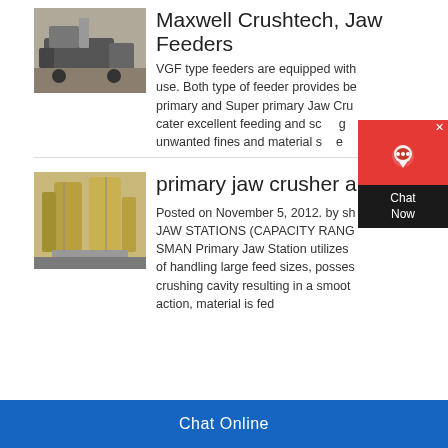[Figure (photo): Industrial mobile crusher/feeder machine outdoors on dirt ground]
Maxwell Crushtech, Jaw Feeders
VGF type feeders are equipped with use. Both type of feeder provides be primary and Super primary Jaw Cru cater excellent feeding and sc g unwanted fines and material s e
[Figure (photo): Industrial facility interior with large yellow silos/storage tanks and conveyor structures]
primary jaw crusher a
Posted on November 5, 2012. by sh JAW STATIONS (CAPACITY RANG SMAN Primary Jaw Station utilizes of handling large feed sizes, posses crushing cavity resulting in a smoot action, material is fed
Chat Online